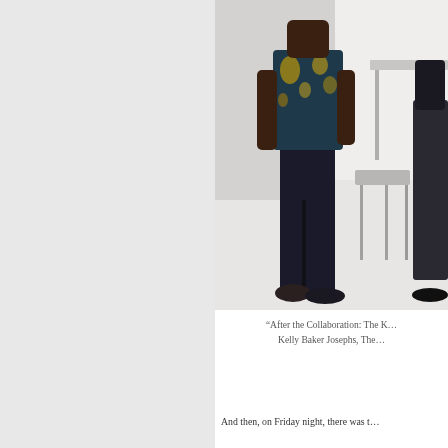[Figure (photo): Partial photo of a person standing, wearing a dark floral/patterned top and dark pants with flat shoes, in what appears to be an event or exhibition space with white tables and chairs visible. The image is cropped and partially cut off on the right edge.]
“After the Collaboration: The K… Kelly Baker Josephs, The…
And then, on Friday night, there was t…